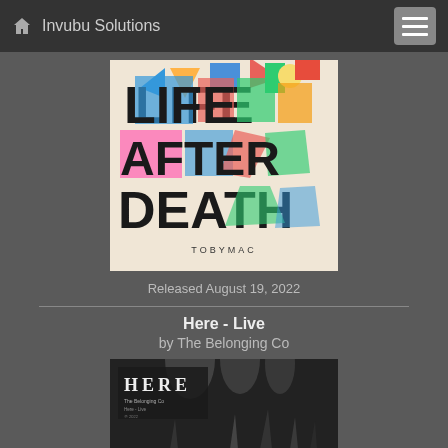Invubu Solutions
[Figure (illustration): Album cover for 'Life After Death' by TobyMac. Colorful stylized text reading LIFE AFTER DEATH with geometric shapes in pink, blue, green, and other colors on a cream background. TOBYMAC written at the bottom.]
Released August 19, 2022
Here - Live
by The Belonging Co
[Figure (photo): Album cover for 'Here - Live' by The Belonging Co. Black and white photo of a concert crowd with hands raised and stage lights in the background. 'HERE' text and album info on the left side.]